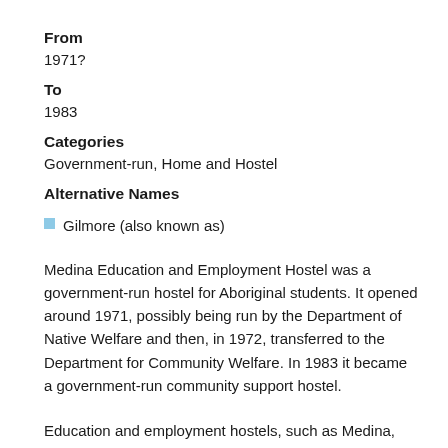From
1971?
To
1983
Categories
Government-run, Home and Hostel
Alternative Names
Gilmore (also known as)
Medina Education and Employment Hostel was a government-run hostel for Aboriginal students. It opened around 1971, possibly being run by the Department of Native Welfare and then, in 1972, transferred to the Department for Community Welfare. In 1983 it became a government-run community support hostel.
Education and employment hostels, such as Medina,